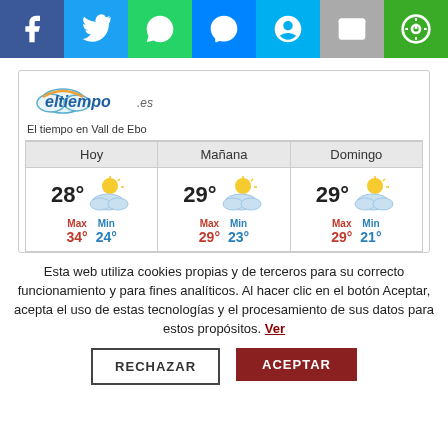[Figure (other): Social media sharing bar with icons: Facebook (dark blue), Twitter (light blue), WhatsApp (green), Messenger (dark blue), Skype (light blue), Email (gray), another app (green)]
[Figure (infographic): eltiempo.es weather widget showing weather for Vall de Ebo. Three columns: Hoy (Today) 28°, Max 34° Min 24°; Mañana (Tomorrow) 29°, Max 29° Min 23°; Domingo (Sunday) 29°, Max 29° Min 21°. Each column shows a partly cloudy with sun icon.]
Esta web utiliza cookies propias y de terceros para su correcto funcionamiento y para fines analíticos. Al hacer clic en el botón Aceptar, acepta el uso de estas tecnologías y el procesamiento de sus datos para estos propósitos. Ver
RECHAZAR
ACEPTAR